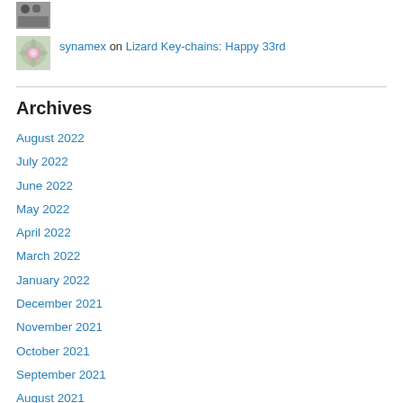[Figure (photo): Small avatar image, black and white photo]
[Figure (photo): Small avatar image showing a colorful fractal/mandala flower pattern]
synamex on Lizard Key-chains: Happy 33rd
Archives
August 2022
July 2022
June 2022
May 2022
April 2022
March 2022
January 2022
December 2021
November 2021
October 2021
September 2021
August 2021